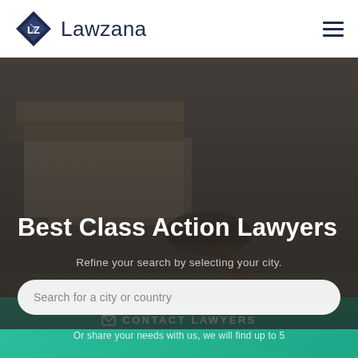[Figure (logo): Lawzana logo: diamond shape with LZ initials in dark navy, followed by 'Lawzana' text in dark navy]
[Figure (photo): Dark-toned photo of law books and a judge's gavel on a wooden surface, used as hero background]
Best Class Action Lawyers
Refine your search by selecting your city.
Search for a city or country
CONTACT LAWYERS
Or share your needs with us, we will find up to 5